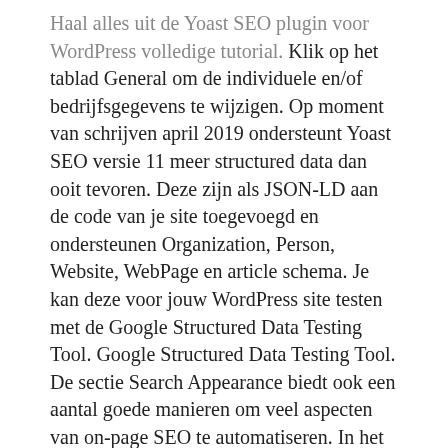Haal alles uit de Yoast SEO plugin voor WordPress volledige tutorial. Klik op het tablad General om de individuele en/of bedrijfsgegevens te wijzigen. Op moment van schrijven april 2019 ondersteunt Yoast SEO versie 11 meer structured data dan ooit tevoren. Deze zijn als JSON-LD aan de code van je site toegevoegd en ondersteunen Organization, Person, Website, WebPage en article schema. Je kan deze voor jouw WordPress site testen met de Google Structured Data Testing Tool. Google Structured Data Testing Tool. De sectie Search Appearance biedt ook een aantal goede manieren om veel aspecten van on-page SEO te automatiseren. In het kort kan je met deze functie templates instellen voor de SEO titels en meta descriptions van al je.: Yoast SEO Content types. De reden dat